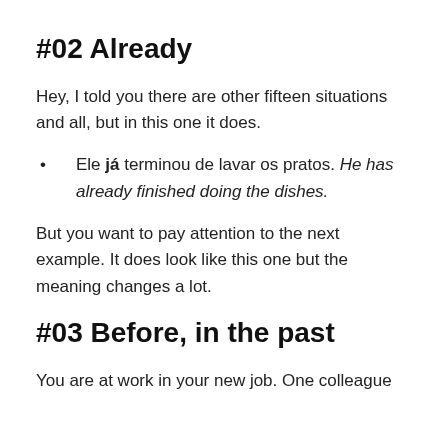#02 Already
Hey, I told you there are other fifteen situations and all, but in this one it does.
Ele já terminou de lavar os pratos. He has already finished doing the dishes.
But you want to pay attention to the next example. It does look like this one but the meaning changes a lot.
#03 Before, in the past
You are at work in your new job. One colleague